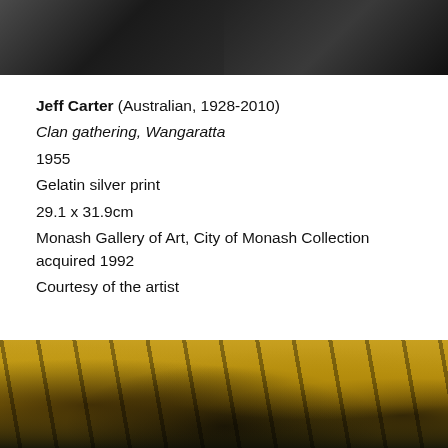[Figure (photo): Black and white photograph showing people at what appears to be an outdoor gathering, partially cropped at top]
Jeff Carter (Australian, 1928-2010)
Clan gathering, Wangaratta
1955
Gelatin silver print
29.1 x 31.9cm
Monash Gallery of Art, City of Monash Collection acquired 1992
Courtesy of the artist
[Figure (photo): Colour photograph showing a crowd of people wearing black and gold/yellow scarves and hats, appearing to be at a sporting event]